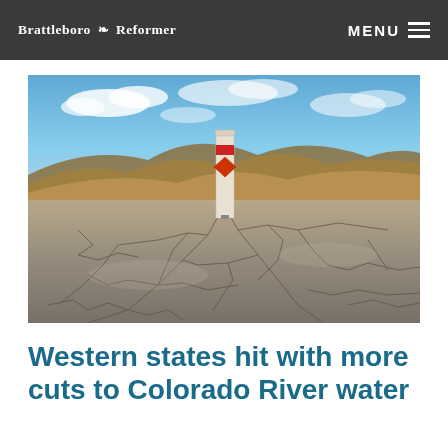Brattleboro Reformer | MENU
[Figure (photo): A cracked dry lakebed with a navigation marker post standing in the center, arid brown hills in the background under a partly cloudy blue sky — indicating severe drought conditions at a reservoir on the Colorado River.]
Western states hit with more cuts to Colorado River water